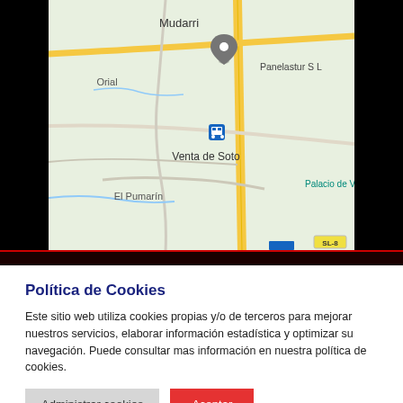[Figure (map): Google Maps screenshot showing location of Panelastur S L near Mudarri, Venta de Soto, Orial, El Pumarín, and Palacio de V. A grey location pin marks Panelastur S L. Two blue transit icons are visible. A yellow road runs vertically. Map is in light green/beige tones.]
Política de Cookies
Este sitio web utiliza cookies propias y/o de terceros para mejorar nuestros servicios, elaborar información estadística y optimizar su navegación. Puede consultar mas información en nuestra política de cookies.
Administrar cookies   Aceptar